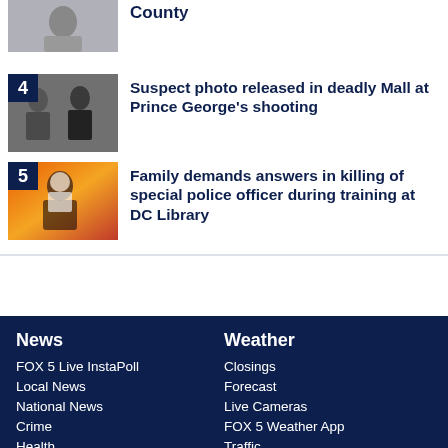[Figure (photo): Partial news thumbnail (top, item 3) — woman with dark hair on grey background]
County
[Figure (photo): News item 4 thumbnail — two people in dark clothing, suspect photo]
Suspect photo released in deadly Mall at Prince George's shooting
[Figure (photo): News item 5 thumbnail — woman on colorful orange/red background]
Family demands answers in killing of special police officer during training at DC Library
News | FOX 5 Live InstaPoll | Local News | National News | Crime | Health | Weather | Closings | Forecast | Live Cameras | FOX 5 Weather App | Traffic